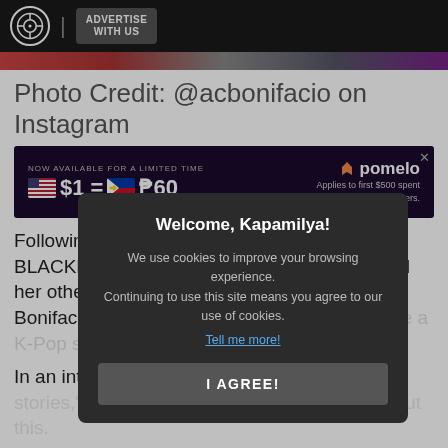ADVERTISE WITH US
[Figure (screenshot): Image strip showing partial photo]
Photo Credit: @acbonifacio on Instagram
[Figure (screenshot): Pomelo advertisement banner: NOW AVAILABLE FOR A LIMITED TIME $1 = P60 Applies to first $500 spent in 45 days for new customers.]
Following her second place win in the BLACKPINK dance cover contest last year and her other successful international stints, AC Bonifacio was asked if she would audition to b[e a K-Pop star].
In an intervi[ew with] "Your dose of inspirASIA[n stories," she] e actually been telling [people about this.]
"I've been to[ld about it] and I have but knowing how K-Pop idols train, usually how they start from, you know, like they are kind of unknown first, you know what I mean. They have very strict rules, and they still
[Figure (screenshot): Cookie consent modal overlay: Welcome, Kapamilya! We use cookies to improve your browsing experience. Continuing to use this site means you agree to our use of cookies. Tell me more! I AGREE!]